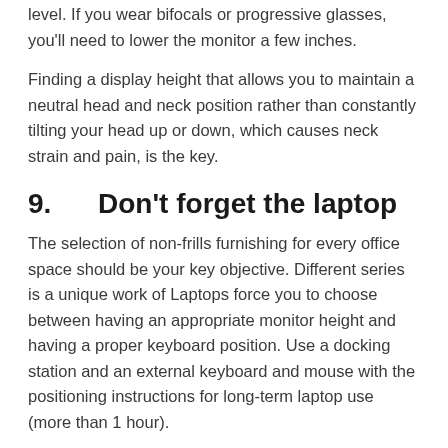level. If you wear bifocals or progressive glasses, you'll need to lower the monitor a few inches.
Finding a display height that allows you to maintain a neutral head and neck position rather than constantly tilting your head up or down, which causes neck strain and pain, is the key.
9.      Don't forget the laptop
The selection of non-frills furnishing for every office space should be your key objective. Different series is a unique work of Laptops force you to choose between having an appropriate monitor height and having a proper keyboard position. Use a docking station and an external keyboard and mouse with the positioning instructions for long-term laptop use (more than 1 hour).